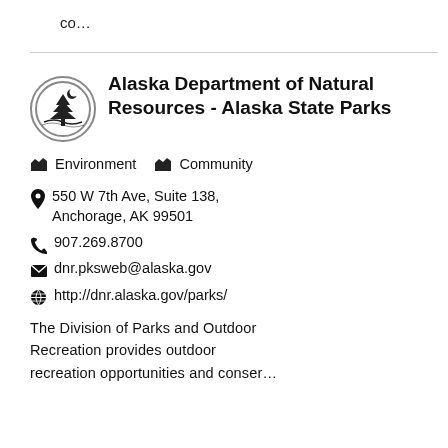co…
[Figure (logo): Alaska State Parks circular logo with tree silhouette]
Alaska Department of Natural Resources - Alaska State Parks
Environment  Community
550 W 7th Ave, Suite 138, Anchorage, AK 99501
907.269.8700
dnr.pksweb@alaska.gov
http://dnr.alaska.gov/parks/
The Division of Parks and Outdoor Recreation provides outdoor recreation opportunities and conser…